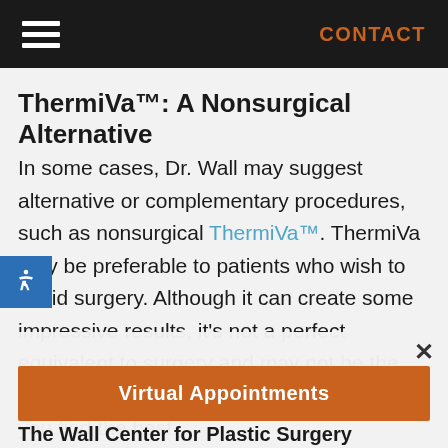CONTACT
ThermiVa™: A Nonsurgical Alternative
In some cases, Dr. Wall may suggest alternative or complementary procedures, such as nonsurgical ThermiVa™. ThermiVa may be preferable to patients who wish to avoid surgery. Although it can create some impressive results, it's not a perfect equivalent to surgery and may not be the best choice for everyone. Dr. Wall will help you find the best
[Figure (screenshot): Virtual Appointments button overlay with close (×) button and partially visible text 'The Wall Center for Plastic Surgery']